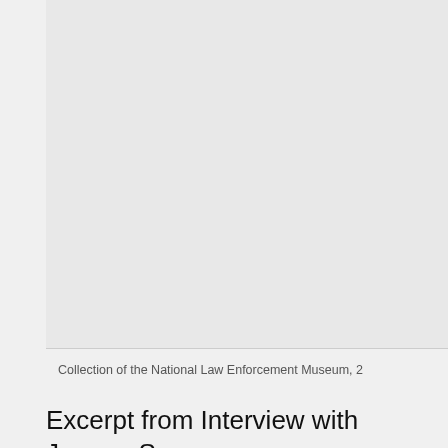[Figure (photo): A large mostly blank/light gray image area, likely a photograph that is cropped or faded.]
Collection of the National Law Enforcement Museum, 2
Excerpt from Interview with Jeanne S. Willcut, daughter of Raymond Suran (August from 1933-1955)